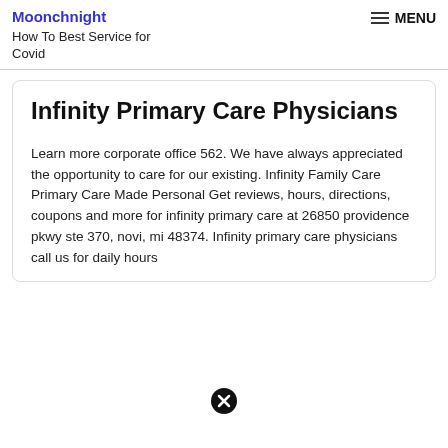Moonchnight
How To Best Service for Covid
Infinity Primary Care Physicians
Learn more corporate office 562. We have always appreciated the opportunity to care for our existing. Infinity Family Care Primary Care Made Personal Get reviews, hours, directions, coupons and more for infinity primary care at 26850 providence pkwy ste 370, novi, mi 48374. Infinity primary care physicians call us for daily hours